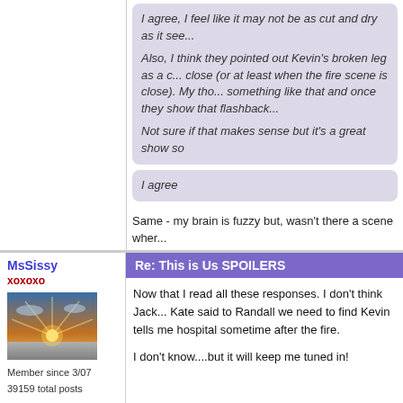I agree, I feel like it may not be as cut and dry as it see...
Also, I think they pointed out Kevin's broken leg as a c... close (or at least when the fire scene is close). My tho... something like that and once they show that flashback...
Not sure if that makes sense but it's a great show so
I agree
Same - my brain is fuzzy but, wasn't there a scene wher...
MsSissy
xoxoxo
[Figure (photo): Avatar photo showing a sunrise or sunset with dramatic light rays over a landscape.]
Member since 3/07
39159 total posts
Re: This is Us SPOILERS
Now that I read all these responses. I don't think Jack... Kate said to Randall we need to find Kevin tells me hospital sometime after the fire.
I don't know....but it will keep me tuned in!